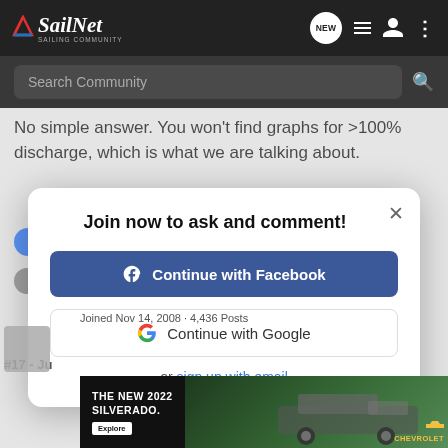SailNet - SAILING COMMUNITY
No simple answer. You won't find graphs for >100% discharge, which is what we are talking about.
Join now to ask and comment!
Continue with Facebook
Continue with Google
or sign up with email
THE NEW 2022 SILVERADO.
#17 - Ju